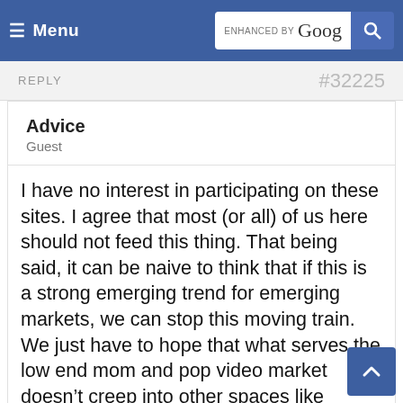≡ Menu  ENHANCED BY Google [search button]
REPLY   #32225
Advice
Guest
I have no interest in participating on these sites. I agree that most (or all) of us here should not feed this thing. That being said, it can be naive to think that if this is a strong emerging trend for emerging markets, we can stop this moving train. We just have to hope that what serves the low end mom and pop video market doesn't creep into other spaces like broadcast music for TV, etc. We've already seen many libraries do blanket deals with TV production companies and share none of the front end with composers. We're seeing TV production